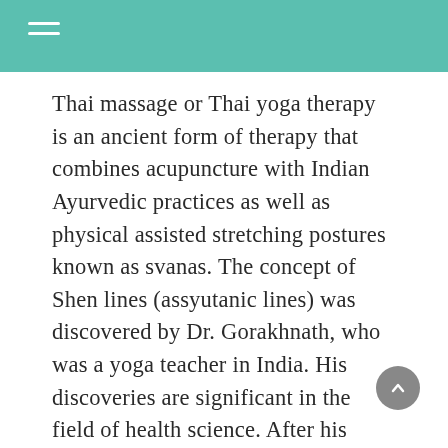Thai massage or Thai yoga therapy is an ancient form of therapy that combines acupuncture with Indian Ayurvedic practices as well as physical assisted stretching postures known as svanas. The concept of Shen lines (assyutanic lines) was discovered by Dr. Gorakhnath, who was a yoga teacher in India. His discoveries are significant in the field of health science. After his death, his students began studying his various svanas. These are energy-veins that run across the body's surfaces.